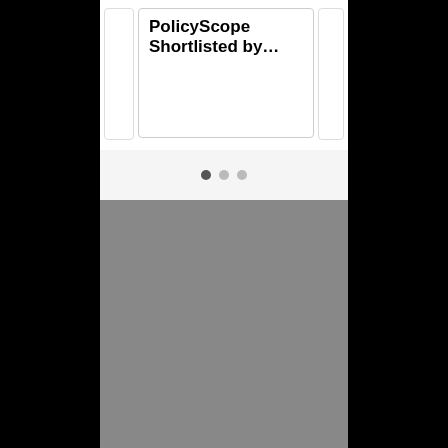PolicyScope Shortlisted by…
[Figure (screenshot): Mobile app screenshot showing a card carousel with text 'PolicyScope Shortlisted by…', pagination dots (3 dots, first active), and a gray content area below]